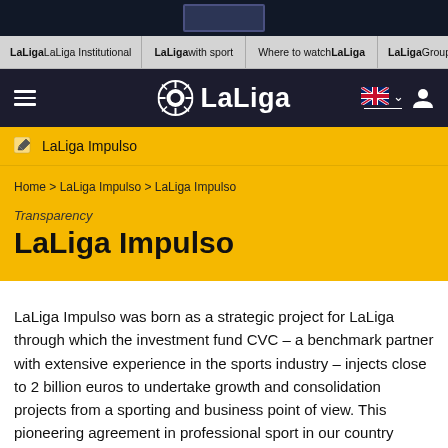LaLiga Institutional | LaLiga with sport | Where to watch LaLiga | LaLiga Group
[Figure (logo): LaLiga logo with soccer ball icon and white text 'LaLiga' on dark navy background, hamburger menu on left, UK flag and user icon on right]
LaLiga Impulso
Home > LaLiga Impulso > LaLiga Impulso
Transparency
LaLiga Impulso
LaLiga Impulso was born as a strategic project for LaLiga through which the investment fund CVC – a benchmark partner with extensive experience in the sports industry – injects close to 2 billion euros to undertake growth and consolidation projects from a sporting and business point of view. This pioneering agreement in professional sport in our country provides LaLiga